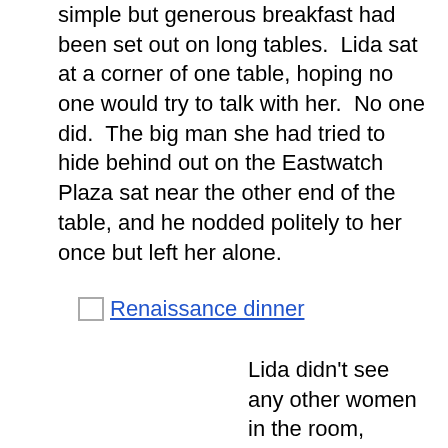simple but generous breakfast had been set out on long tables.  Lida sat at a corner of one table, hoping no one would try to talk with her.  No one did.  The big man she had tried to hide behind out on the Eastwatch Plaza sat near the other end of the table, and he nodded politely to her once but left her alone.
[Figure (illustration): Broken image placeholder with alt text 'Renaissance dinner']
Lida didn't see any other women in the room, although she did see representatives of most of the people ruled by the Empire: yellow-haired northerners, narrow-eyed Nemesde with black hair and golden-brown faces and hands, dark men from the southern deserts, olive-skinned